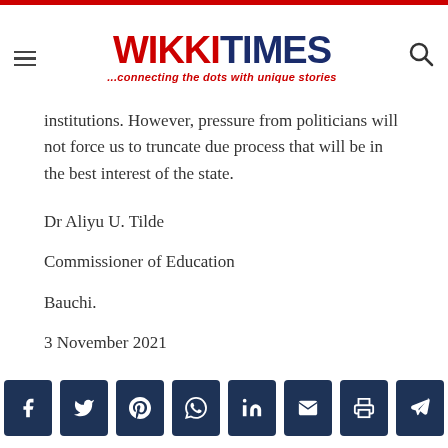Wikki Times — ...connecting the dots with unique stories
institutions. However, pressure from politicians will not force us to truncate due process that will be in the best interest of the state.
Dr Aliyu U. Tilde
Commissioner of Education
Bauchi.
3 November 2021
[Figure (other): Social media share buttons: Facebook, Twitter, Pinterest, WhatsApp, LinkedIn, Email, Print, Telegram]